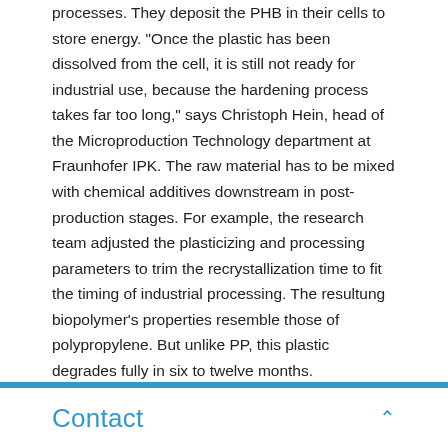processes. They deposit the PHB in their cells to store energy. "Once the plastic has been dissolved from the cell, it is still not ready for industrial use, because the hardening process takes far too long," says Christoph Hein, head of the Microproduction Technology department at Fraunhofer IPK. The raw material has to be mixed with chemical additives downstream in post-production stages. For example, the research team adjusted the plasticizing and processing parameters to trim the recrystallization time to fit the timing of industrial processing. The resultung biopolymer's properties resemble those of polypropylene. But unlike PP, this plastic degrades fully in six to twelve months.
In this method of producing plastic, microorganisms synthesize the entire polymer in a biotechnical process. "To this end, we convert biogenic residues such as waste fats into polyesters that can be put to technical use," says Hein. The researcher and his team opted for
Contact